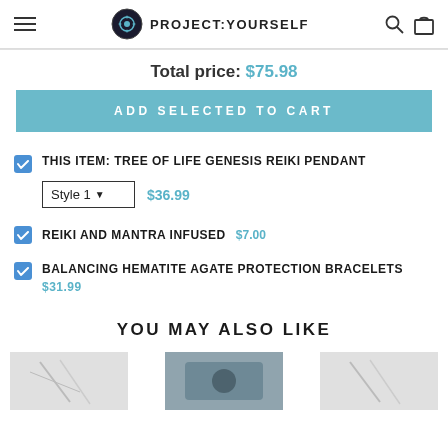PROJECT:YOURSELF
Total price: $75.98
ADD SELECTED TO CART
THIS ITEM: TREE OF LIFE GENESIS REIKI PENDANT  Style 1  $36.99
REIKI AND MANTRA INFUSED  $7.00
BALANCING HEMATITE AGATE PROTECTION BRACELETS  $31.99
YOU MAY ALSO LIKE
[Figure (photo): Three product images partially shown at bottom of page]